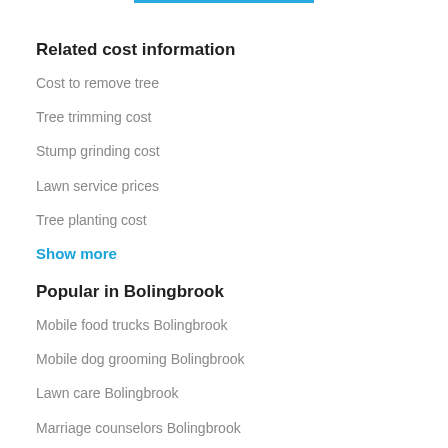Related cost information
Cost to remove tree
Tree trimming cost
Stump grinding cost
Lawn service prices
Tree planting cost
Show more
Popular in Bolingbrook
Mobile food trucks Bolingbrook
Mobile dog grooming Bolingbrook
Lawn care Bolingbrook
Marriage counselors Bolingbrook
Movers Bolingbrook